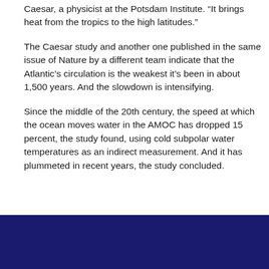Caesar, a physicist at the Potsdam Institute. “It brings heat from the tropics to the high latitudes.”
The Caesar study and another one published in the same issue of Nature by a different team indicate that the Atlantic’s circulation is the weakest it’s been in about 1,500 years. And the slowdown is intensifying.
Since the middle of the 20th century, the speed at which the ocean moves water in the AMOC has dropped 15 percent, the study found, using cold subpolar water temperatures as an indirect measurement. And it has plummeted in recent years, the study concluded.